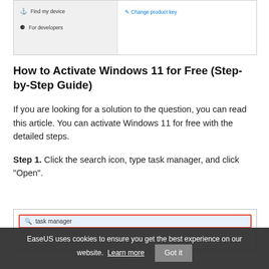[Figure (screenshot): Windows Settings panel showing 'Find my device' and 'For developers' menu items on the left panel, and a 'Change product key' link on the right panel]
How to Activate Windows 11 for Free (Step-by-Step Guide)
If you are looking for a solution to the question, you can read this article. You can activate Windows 11 for free with the detailed steps.
Step 1. Click the search icon, type task manager, and click "Open".
[Figure (screenshot): Windows search bar with 'task manager' typed in, outlined with a red rectangle]
EaseUS uses cookies to ensure you get the best experience on our website.  Learn more   Got it